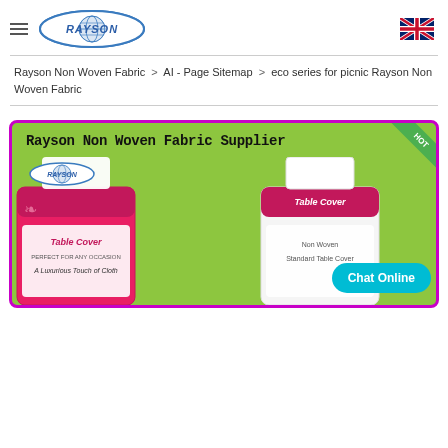Rayson Non Woven Fabric — Navigation header with hamburger menu, Rayson logo, and UK flag
Rayson Non Woven Fabric > AI - Page Sitemap > eco series for picnic Rayson Non Woven Fabric
[Figure (photo): Banner image for Rayson Non Woven Fabric Supplier showing product table covers (red and white packaging) on a green background with Rayson logo, a green ribbon corner, and a cyan 'Chat Online' button.]